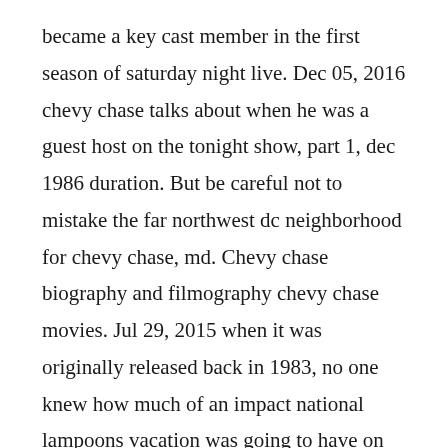became a key cast member in the first season of saturday night live. Dec 05, 2016 chevy chase talks about when he was a guest host on the tonight show, part 1, dec 1986 duration. But be careful not to mistake the far northwest dc neighborhood for chevy chase, md. Chevy chase biography and filmography chevy chase movies. Jul 29, 2015 when it was originally released back in 1983, no one knew how much of an impact national lampoons vacation was going to have on the comedic landscape for decades to come. Top 30 quotes of chevy chase famous quotes and sayings